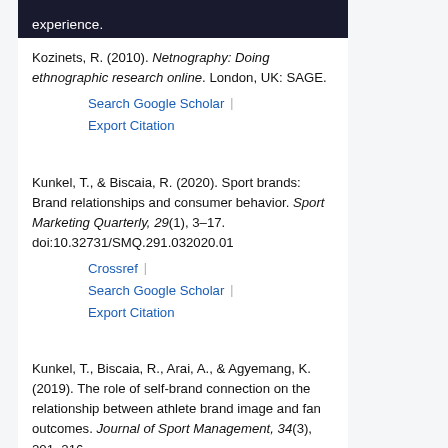experience.
Kozinets, R. (2010). Netnography: Doing ethnographic research online. London, UK: SAGE.
Search Google Scholar | Export Citation
Kunkel, T., & Biscaia, R. (2020). Sport brands: Brand relationships and consumer behavior. Sport Marketing Quarterly, 29(1), 3–17. doi:10.32731/SMQ.291.032020.01
Crossref | Search Google Scholar | Export Citation
Kunkel, T., Biscaia, R., Arai, A., & Agyemang, K. (2019). The role of self-brand connection on the relationship between athlete brand image and fan outcomes. Journal of Sport Management, 34(3), 201–216.